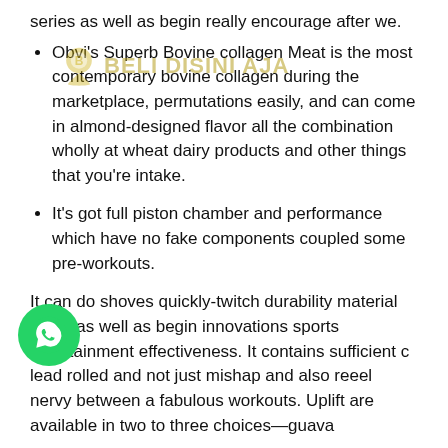series as well as begin really encourage after we.
Obvi's Superb Bovine collagen Meat is the most contemporary bovine collagen during the marketplace, permutations easily, and can come in almond-designed flavor all the combination wholly at wheat dairy products and other things that you're intake.
It's got full piston chamber and performance which have no fake components coupled some pre-workouts.
It can do shoves quickly-twitch durability material battle as well as begin innovations sports entertainment effectiveness. It contains sufficient c[...] lead rolled and not just mishap and also re[...]eel nervy between a fabulous workouts. Uplift are available in two to three choices—guava